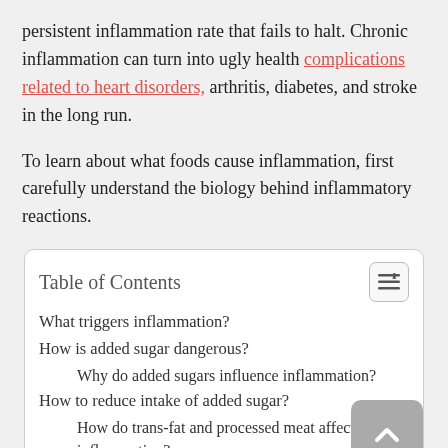persistent inflammation rate that fails to halt. Chronic inflammation can turn into ugly health complications related to heart disorders, arthritis, diabetes, and stroke in the long run.
To learn about what foods cause inflammation, first carefully understand the biology behind inflammatory reactions.
| What triggers inflammation? |
| How is added sugar dangerous? |
| Why do added sugars influence inflammation? |
| How to reduce intake of added sugar? |
| How do trans-fat and processed meat affect inflammation? |